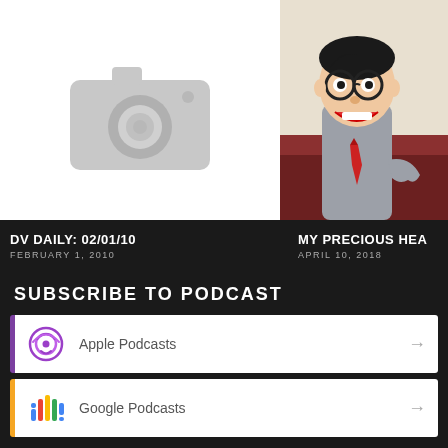[Figure (photo): Left card: white background with grey camera placeholder icon]
[Figure (photo): Right card: photo of a ventriloquist dummy/puppet in glasses and suit sitting on a couch]
DV DAILY: 02/01/10
FEBRUARY 1, 2010
MY PRECIOUS HEA
APRIL 10, 2018
SUBSCRIBE TO PODCAST
Apple Podcasts
Google Podcasts